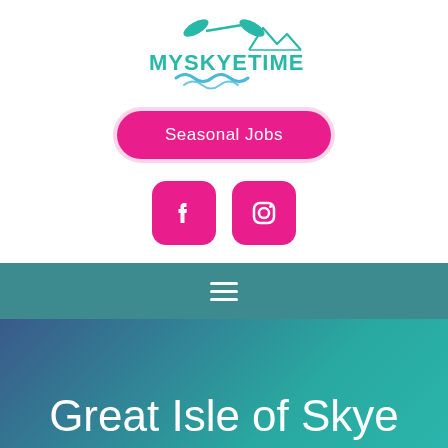[Figure (logo): MySkyeTime logo with teal text, kayak icon above mountains and water wave below]
Seasonal Jobs
[Figure (logo): Facebook icon button in magenta/pink rounded square]
[Figure (logo): Instagram icon button in magenta/pink rounded square]
[Figure (other): Navigation hamburger menu icon (three white lines) on teal bar]
Great Isle of Skye Pubs For Winter